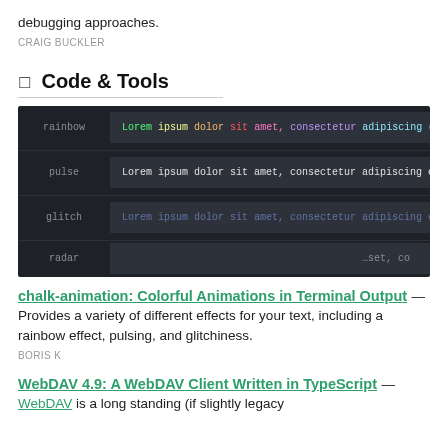debugging approaches.
CRAIG BUCKLER
Code & Tools
[Figure (screenshot): Terminal screenshot showing chalk-animation text effects: rainbow (colorful multicolored lorem ipsum), pulse (white/gray lorem ipsum), glitch (faded lorem ipsum), radar (partially visible lorem ipsum)]
chalk-animation: Colorful Animations in Terminal Output — Provides a variety of different effects for your text, including a rainbow effect, pulsing, and glitchiness.
BORIS K
WebDAV 4.9: A WebDAV Client Written in TypeScript — WebDAV is a long standing (if slightly legacy